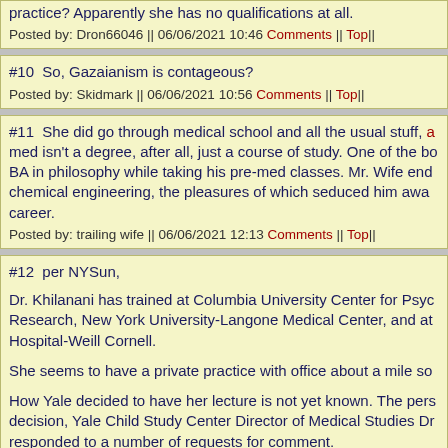practice? Apparently she has no qualifications at all.
Posted by: Dron66046 || 06/06/2021 10:46 Comments || Top||
#10  So, Gazaianism is contageous?
Posted by: Skidmark || 06/06/2021 10:56 Comments || Top||
#11  She did go through medical school and all the usual stuff, a... med isn't a degree, after all, just a course of study. One of the bo... BA in philosophy while taking his pre-med classes. Mr. Wife end... chemical engineering, the pleasures of which seduced him awa... career.
Posted by: trailing wife || 06/06/2021 12:13 Comments || Top||
#12  per NYSun,
Dr. Khilanani has trained at Columbia University Center for Psyc... Research, New York University-Langone Medical Center, and at... Hospital-Weill Cornell.
She seems to have a private practice with office about a mile so...
How Yale decided to have her lecture is not yet known. The pers... decision, Yale Child Study Center Director of Medical Studies Dr... responded to a number of requests for comment.